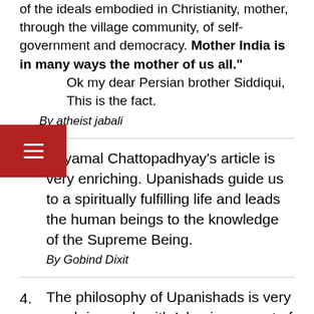of the ideals embodied in Christianity, mother, through the village community, of self-government and democracy. Mother India is in many ways the mother of us all."
Ok my dear Persian brother Siddiqui, This is the fact.
By atheist jabali
5. Shyamal Chattopadhyay's article is very enriching. Upanishads guide us to a spiritually fulfilling life and leads the human beings to the knowledge of the Supreme Being.
By Gobind Dixit
4. The philosophy of Upanishads is very much in synch with Islamic concept of God, the